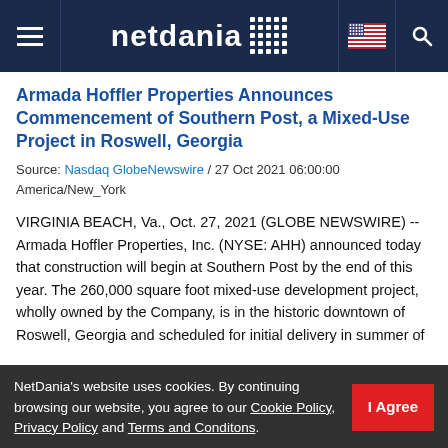netdania
Armada Hoffler Properties Announces Commencement of Southern Post, a Mixed-Use Project in Roswell, Georgia
Source: Nasdaq GlobeNewswire / 27 Oct 2021 06:00:00 America/New_York
VIRGINIA BEACH, Va., Oct. 27, 2021 (GLOBE NEWSWIRE) -- Armada Hoffler Properties, Inc. (NYSE: AHH) announced today that construction will begin at Southern Post by the end of this year. The 260,000 square foot mixed-use development project, wholly owned by the Company, is in the historic downtown of Roswell, Georgia and scheduled for initial delivery in summer of 2...
NetDania's website uses cookies. By continuing browsing our website, you agree to our Cookie Policy, Privacy Policy and Terms and Conditons.